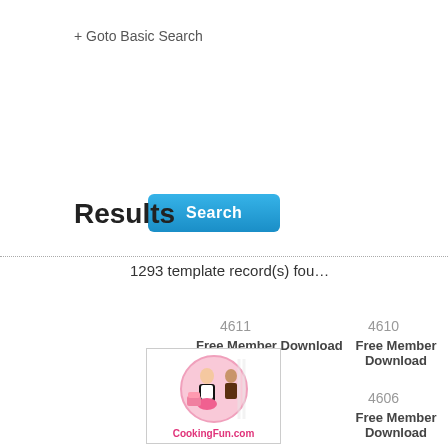+ Goto Basic Search
[Figure (other): Blue Search button with rounded corners]
Results
1293 template record(s) found
4611
Free Member Download
4610
Free Member Download
4606
Free Member Download
[Figure (illustration): CookingFun.com logo with illustrated characters and pink circle]